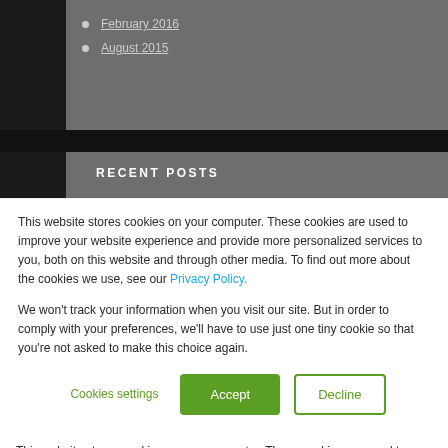February 2016
August 2015
RECENT POSTS
TempoATP™: an Assay That Performs
Microfluidic Chips — an Introduction
Visualizing ATP in a Cell
Cell of the Month: Cells in a 3D Spheroid
This website stores cookies on your computer. These cookies are used to improve your website experience and provide more personalized services to you, both on this website and through other media. To find out more about the cookies we use, see our Privacy Policy.
We won't track your information when you visit our site. But in order to comply with your preferences, we'll have to use just one tiny cookie so that you're not asked to make this choice again.
Cookies settings  Accept  Decline